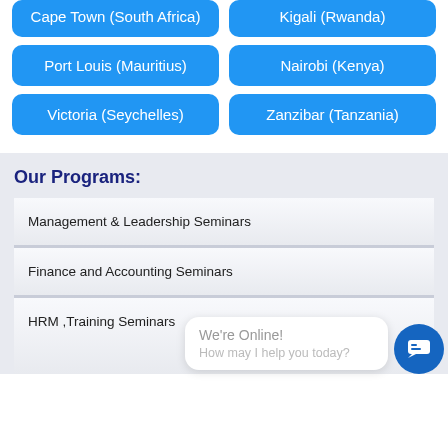Cape Town (South Africa)
Kigali (Rwanda)
Port Louis (Mauritius)
Nairobi (Kenya)
Victoria (Seychelles)
Zanzibar (Tanzania)
Our Programs:
Management & Leadership Seminars
Finance and Accounting Seminars
HRM ,Training Seminars
We're Online! How may I help you today?